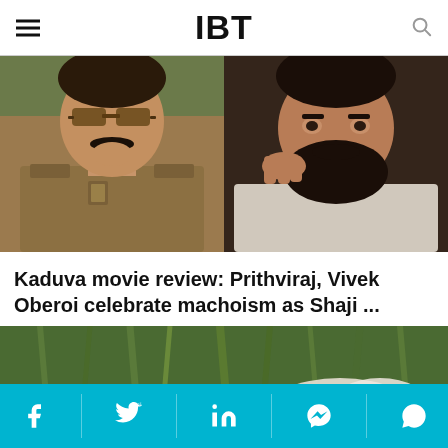IBT
[Figure (photo): Split image showing two men: left side shows a man in police uniform with sunglasses and mustache; right side shows a bearded man in a white shirt looking intense]
Kaduva movie review: Prithviraj, Vivek Oberoi celebrate machoism as Shaji ...
[Figure (photo): A person crouching in tall green grass/reeds with what appears to be a white animal or object nearby]
Social share bar with Facebook, Twitter, LinkedIn, Messenger, WhatsApp icons